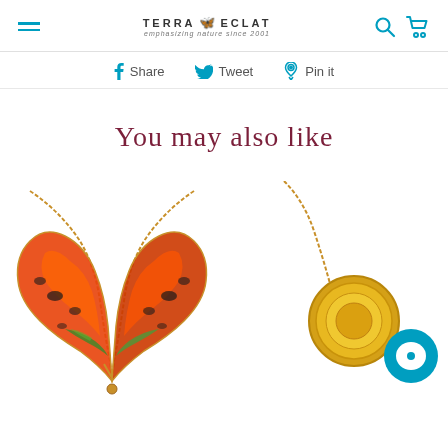TERRA ECLAT emphasizing nature since 2001
Share  Tweet  Pin it
You may also like
[Figure (photo): Butterfly wing necklace pendant with colorful orange, red, green butterfly wings on a gold chain]
[Figure (photo): Gold jewelry piece on chain with a teal chat bubble overlay icon]